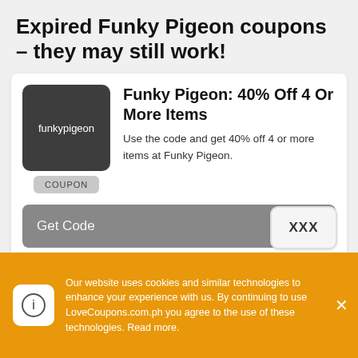Expired Funky Pigeon coupons – they may still work!
[Figure (screenshot): Coupon card showing Funky Pigeon logo and 40% off offer with Get Code button showing XXX and expiry date 31 August 2022]
Our website uses cookies and similar technologies to enhance your experience with us. By continuing to use LoveCoupons.com.ph you agree to the use of these technologies. Read more.